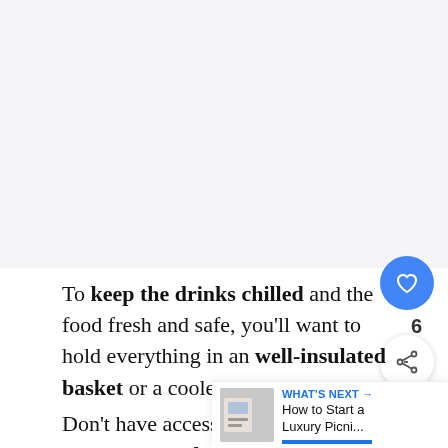[Figure (photo): Large image area at top of page, appears blank/white in this view]
To keep the drinks chilled and the food fresh and safe, you'll want to hold everything in an well-insulated basket or a cooler.
Don't have access to an insulated optio... Add refreezable ice packs next to your food and